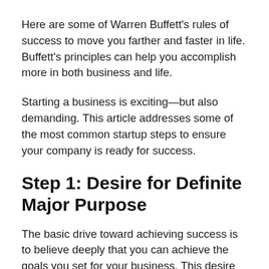Here are some of Warren Buffett's rules of success to move you farther and faster in life. Buffett's principles can help you accomplish more in both business and life.
Starting a business is exciting—but also demanding. This article addresses some of the most common startup steps to ensure your company is ready for success.
Step 1: Desire for Definite Major Purpose
The basic drive toward achieving success is to believe deeply that you can achieve the goals you set for your business. This desire goes beyond